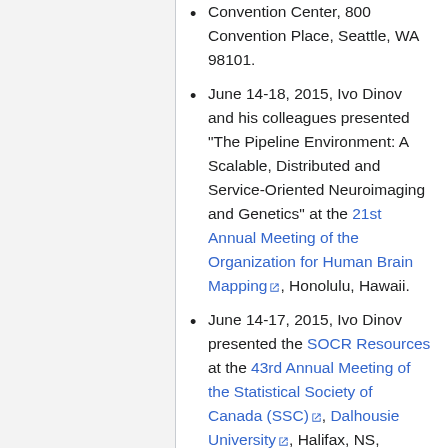Convention Center, 800 Convention Place, Seattle, WA 98101.
June 14-18, 2015, Ivo Dinov and his colleagues presented "The Pipeline Environment: A Scalable, Distributed and Service-Oriented Neuroimaging and Genetics" at the 21st Annual Meeting of the Organization for Human Brain Mapping, Honolulu, Hawaii.
June 14-17, 2015, Ivo Dinov presented the SOCR Resources at the 43rd Annual Meeting of the Statistical Society of Canada (SSC), Dalhousie University, Halifax, NS, Canada.
May 5, 2015, Deb Barton and Ivo Dinov presented the Center for Complexity and Self-management of Chronic Disease (CSCD) at the